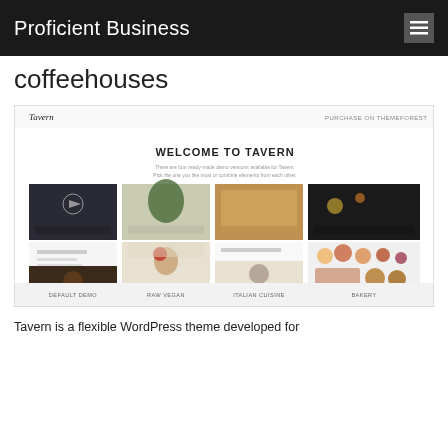Proficient Business
coffeehouses
[Figure (screenshot): Screenshot of the Tavern WordPress theme demo page showing a restaurant/food theme with multiple demo options: Default Demo, Raw Vegan, Italian Cuisine, Bakery. The page shows a welcome banner and grid of food photography images.]
Tavern is a flexible WordPress theme developed for